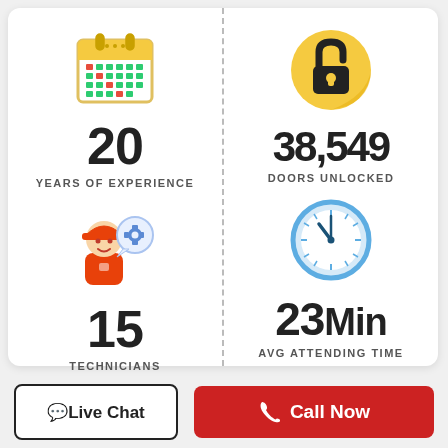[Figure (infographic): Calendar icon representing years of experience]
20
YEARS OF EXPERIENCE
[Figure (infographic): Technician with gear speech bubble icon]
15
TECHNICIANS
[Figure (infographic): Open padlock icon on gold circle representing doors unlocked]
38,549
DOORS UNLOCKED
[Figure (infographic): Clock icon representing average attending time]
23Min
AVG ATTENDING TIME
💬Live Chat
📞 Call Now